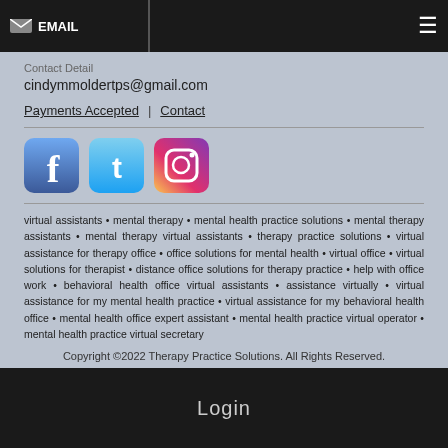EMAIL | menu
Contact Detail
cindymmoldertps@gmail.com
Payments Accepted | Contact
[Figure (logo): Facebook, Twitter, Instagram social media icons]
virtual assistants • mental therapy • mental health practice solutions • mental therapy assistants • mental therapy virtual assistants • therapy practice solutions • virtual assistance for therapy office • office solutions for mental health • virtual office • virtual solutions for therapist • distance office solutions for therapy practice • help with office work • behavioral health office virtual assistants • assistance virtually • virtual assistance for my mental health practice • virtual assistance for my behavioral health office • mental health office expert assistant • mental health practice virtual operator • mental health practice virtual secretary
Copyright ©2022 Therapy Practice Solutions. All Rights Reserved.
Designed by Exquisite Pixel Designs
Login